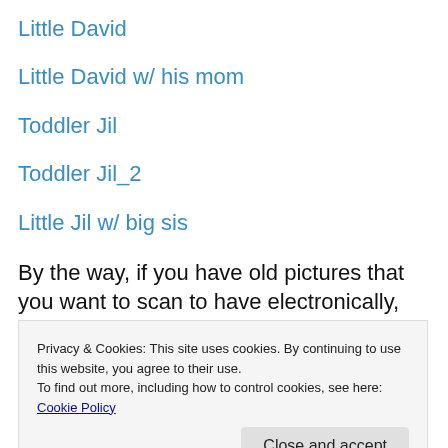Little David
Little David w/ his mom
Toddler Jil
Toddler Jil_2
Little Jil w/ big sis
By the way, if you have old pictures that you want to scan to have electronically, Mike's camera will scan up to 100 pics and put them on a CD for only $30. Pretty good deal!
Privacy & Cookies: This site uses cookies. By continuing to use this website, you agree to their use.
To find out more, including how to control cookies, see here: Cookie Policy
Oh the Places We Will Go!